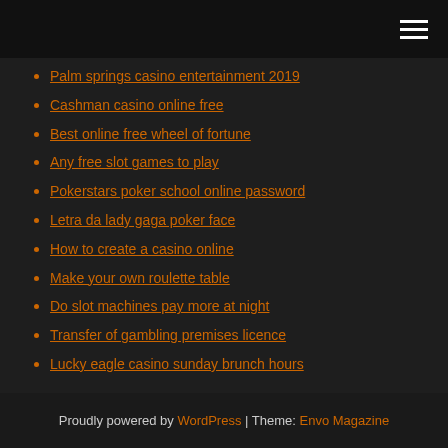Navigation menu
Palm springs casino entertainment 2019
Cashman casino online free
Best online free wheel of fortune
Any free slot games to play
Pokerstars poker school online password
Letra da lady gaga poker face
How to create a casino online
Make your own roulette table
Do slot machines pay more at night
Transfer of gambling premises licence
Lucky eagle casino sunday brunch hours
Proudly powered by WordPress | Theme: Envo Magazine